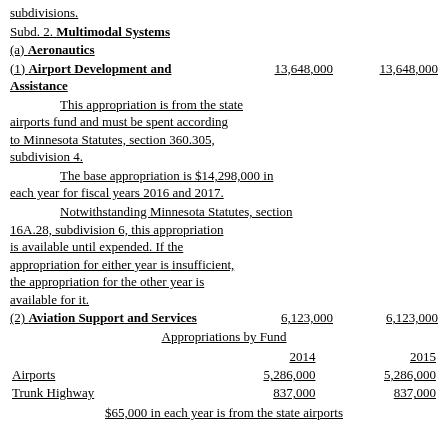subdivisions.
Subd. 2. Multimodal Systems
(a) Aeronautics
(1) Airport Development and Assistance    13,648,000    13,648,000
This appropriation is from the state airports fund and must be spent according to Minnesota Statutes, section 360.305, subdivision 4.
The base appropriation is $14,298,000 in each year for fiscal years 2016 and 2017.
Notwithstanding Minnesota Statutes, section 16A.28, subdivision 6, this appropriation is available until expended. If the appropriation for either year is insufficient, the appropriation for the other year is available for it.
(2) Aviation Support and Services    6,123,000    6,123,000
Appropriations by Fund
|  | 2014 | 2015 |
| --- | --- | --- |
| Airports | 5,286,000 | 5,286,000 |
| Trunk Highway | 837,000 | 837,000 |
$65,000 in each year is from the state airports